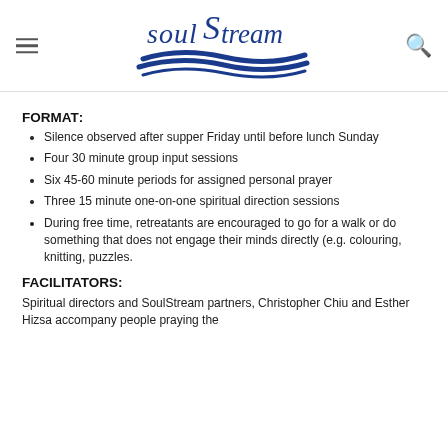SoulStream logo with hamburger menu and search icon
FORMAT:
Silence observed after supper Friday until before lunch Sunday
Four 30 minute group input sessions
Six 45-60 minute periods for assigned personal prayer
Three 15 minute one-on-one spiritual direction sessions
During free time, retreatants are encouraged to go for a walk or do something that does not engage their minds directly (e.g. colouring, knitting, puzzles.
FACILITATORS:
Spiritual directors and SoulStream partners, Christopher Chiu and Esther Hizsa accompany people praying the